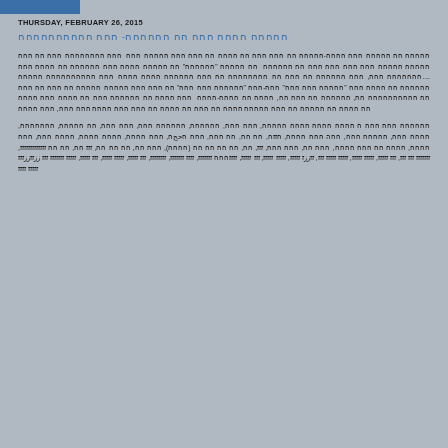THURSDAY, FEBRUARY 26, 2015
חחחחח חחחח חחח חח חחחחחח- חחח חחחחחחחחחח
חחחחח חח חחחחח חחח חחחח-חחחחח חח חחח חחח חח חחחח חח חחח חחח חחחחח חחח  חחח חחחחחחחח חחח חח חחח חחחחח חחחחח חחח חחח חחח חחח חח חחחחחח   חח חחחחח "חחחחחח" חח חחחחח חחחח חחח חחחחחח חח חחחח חחח ....חחחחחחח חחח, חחח חחחחחח חח חחח חח חחחחחחחח חח חחח חחחחחח חחחח חחחח חחח חחחחחחחחחח חחחחח חחחחחח חח חחחח חחח "חחחחח חחח חחח" חחח-חחח "חחחחחח חחח חחח" חח חחח חחח חחחחח חחחחח חח חחח חח חחח חח חחחחחחחחחח חח, חחחחחח חח חחח חח, חחחח חח חחחח-חחחח  חחח חחחח חח חחחחחח חחח חח חחחח חחח חחחח חח חחחח חח חחחחח חח חחח חחחחח חחחח חח חחח חח חחחח חח חחח חחח חחחח חחח חחח, חחח חחחח
חחחחחח חחח חחח ח חחחח חחחח חחחח חחחחח, חחח חחח, חחחחחח, חחחחחח חחח, חחח חחח, חח חחחחח, חחחחחחח, חחחח חחח, חחחח חחח, חחחחח חחח, חחח חחחח, חחח חחחח, חחחח חחחח, חחחחח חחחחח, חחחחח חחחחחחחח, חחחחח חחחח, חחח חחחח, חחחח חחח, חריף, חחחח חחחח, חחחח חחחחחח, חחחח חחח, חחחחח חחח, חח חחחח חחח, חחח חחח, חחח חחח, חחחח חחח, חחחח חחחחחח, חחחח חחח, חחח חחחח, חחחח חח חחח חחחחח, חחח חחחח, חחח חחח, חחח חחחח, חחח חח חחח חחççs, חחח חחח, ידיים, חח, חחחח, חחחח חח, חח (חחח חחח, חחח), חחח חחח, חח, חח חח, חחח חחח, חח חחחח חחח חחח, חח חח חח, חח חח חח, חח חח חח, חח חחח, חח חח חח, חח חח חח, חח חח, חח חח, חח, חח חח, חח חח, חח חח, חח, חח חח, חח חחח, חח חח חח, חח חח חחח, חחח חחח, חח חח, חח חח, ччч חח חח חח חח, חח חח, חח חח חח, חח חח חח, חח חח, חח חח, חח חח חח חח חח חח חח חח חח חח חח חח חח חח